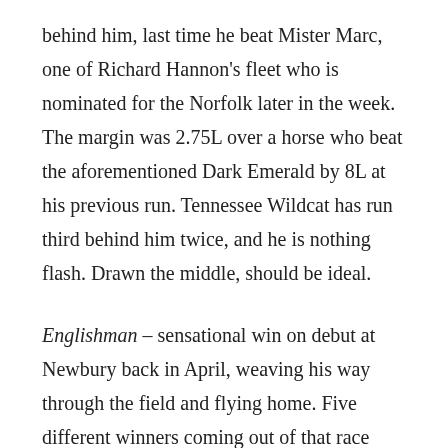behind him, last time he beat Mister Marc, one of Richard Hannon's fleet who is nominated for the Norfolk later in the week. The margin was 2.75L over a horse who beat the aforementioned Dark Emerald by 8L at his previous run. Tennessee Wildcat has run third behind him twice, and he is nothing flash. Drawn the middle, should be ideal.
Englishman – sensational win on debut at Newbury back in April, weaving his way through the field and flying home. Five different winners coming out of that race since, and the second horse, Smoothtalkinrascal runs in the Windsor Castle later in the day – keep an eye on him. This colt was the most impressive of this field from the tapes, but the 60 days off is a concern – surely he'd want a lead-up run for such a high pressure race? Apparently he had a slight setback a few weeks ago, but he still has the stable number